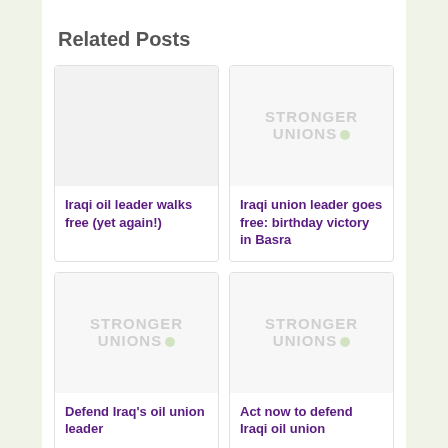Related Posts
[Figure (other): Blank light grey placeholder image for Iraqi oil leader walks free post]
Iraqi oil leader walks free (yet again!)
[Figure (logo): Stronger Unions logo (blurred/watermark) for Iraqi union leader goes free post]
Iraqi union leader goes free: birthday victory in Basra
[Figure (logo): Stronger Unions logo (blurred/watermark) for Defend Iraq's oil union leader post]
Defend Iraq's oil union leader
[Figure (logo): Stronger Unions logo (blurred/watermark) for Act now to defend Iraqi oil union post]
Act now to defend Iraqi oil union